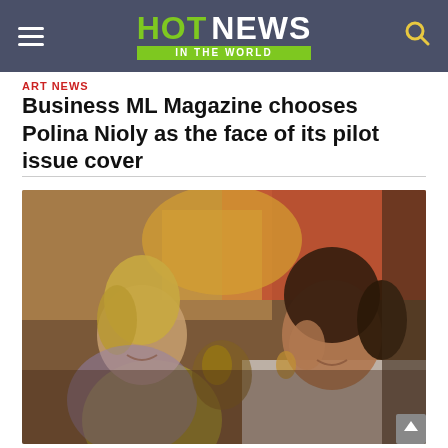HOT NEWS IN THE WORLD
ART NEWS
Business ML Magazine chooses Polina Nioly as the face of its pilot issue cover
[Figure (photo): Two women smiling and talking at an event. The woman on the left has blonde hair and wears a yellow-green dress; the woman on the right has dark hair and wears a white outfit. Colorful background with warm lighting.]